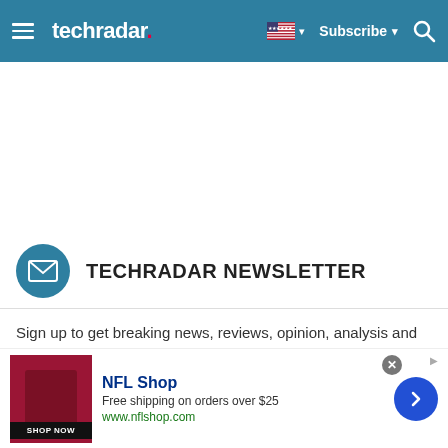techradar | Subscribe
TECHRADAR NEWSLETTER
Sign up to get breaking news, reviews, opinion, analysis and more, plus the hottest tech deals!
Your Email Address
[Figure (infographic): NFL Shop advertisement banner with dark red jersey product image, NFL Shop logo, text reading 'Free shipping on orders over $25' and 'www.nflshop.com', a SHOP NOW button, and a blue circular arrow navigation button]